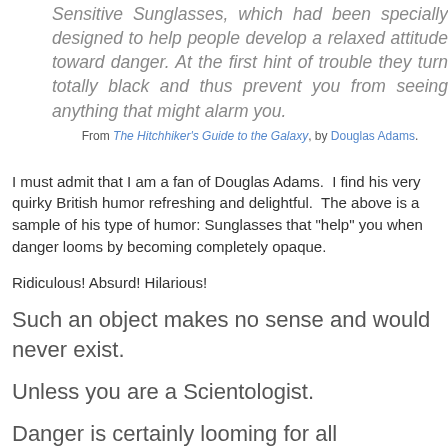Sensitive Sunglasses, which had been specially designed to help people develop a relaxed attitude toward danger. At the first hint of trouble they turn totally black and thus prevent you from seeing anything that might alarm you.
From The Hitchhiker's Guide to the Galaxy, by Douglas Adams.
I must admit that I am a fan of Douglas Adams. I find his very quirky British humor refreshing and delightful. The above is a sample of his type of humor: Sunglasses that "help" you when danger looms by becoming completely opaque.
Ridiculous! Absurd! Hilarious!
Such an object makes no sense and would never exist.
Unless you are a Scientologist.
Danger is certainly looming for all Scientologists. Every year, every month, heck, every day it seems like, there is more bad news for the Church of Scientology. Secret documents are leaked; crimes are exposed in detail with lots